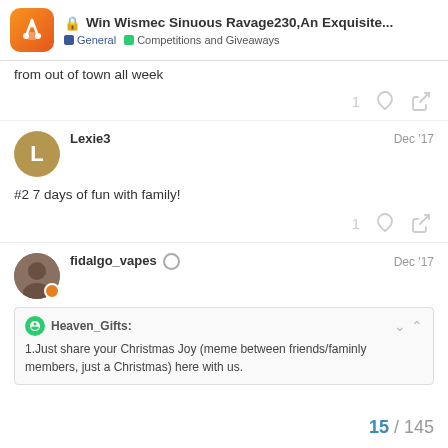Win Wismec Sinuous Ravage230,An Exquisite... | General | Competitions and Giveaways
from out of town all week
1 ♡ 🔗
Lexie3   Dec '17
#2 7 days of fun with family!
1 ♡ 🔗
fidalgo_vapes   Dec '17
Heaven_Gifts:
1.Just share your Christmas Joy (meme between friends/faminly members, just a Christmas) here with us.
15 / 145